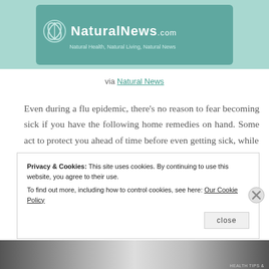[Figure (logo): NaturalNews.com logo banner with teal/green background, stylized leaf/plant icon, site title 'NaturalNews.com' and tagline 'Natural Health, Natural Living, Natural News']
via Natural News
Even during a flu epidemic, there’s no reason to fear becoming sick if you have the following home remedies on hand. Some act to protect you ahead of time before even getting sick, while others help you to recover after contracting the
Privacy & Cookies: This site uses cookies. By continuing to use this website, you agree to their use.
To find out more, including how to control cookies, see here: Our Cookie Policy
[Figure (photo): Partial bottom image strip showing a photograph, partially obscured]